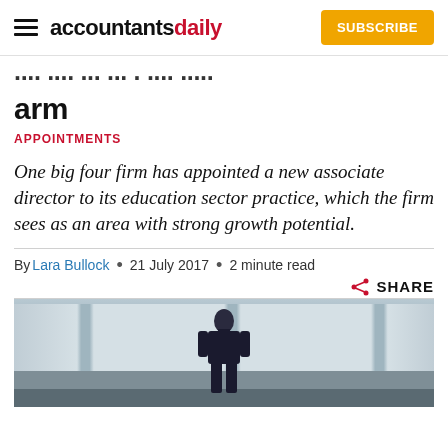accountantsdaily  SUBSCRIBE
New hire for Big 4 firm's education arm
APPOINTMENTS
One big four firm has appointed a new associate director to its education sector practice, which the firm sees as an area with strong growth potential.
By Lara Bullock • 21 July 2017 • 2 minute read  SHARE
[Figure (photo): Photo of a person seen from behind, standing in front of windows, in dark clothing, in a building interior.]